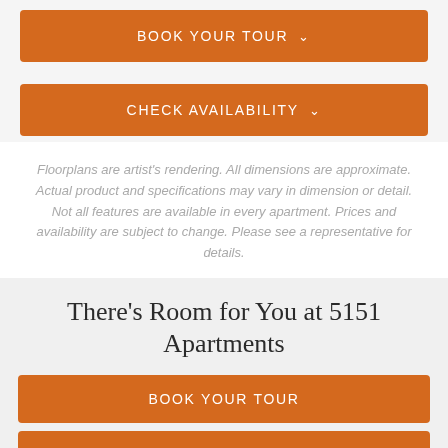BOOK YOUR TOUR ∨
CHECK AVAILABILITY ∨
Floorplans are artist's rendering. All dimensions are approximate. Actual product and specifications may vary in dimension or detail. Not all features are available in every apartment. Prices and availability are subject to change. Please see a representative for details.
There's Room for You at 5151 Apartments
BOOK YOUR TOUR
LEASE NOW
Follow Us on Instagram